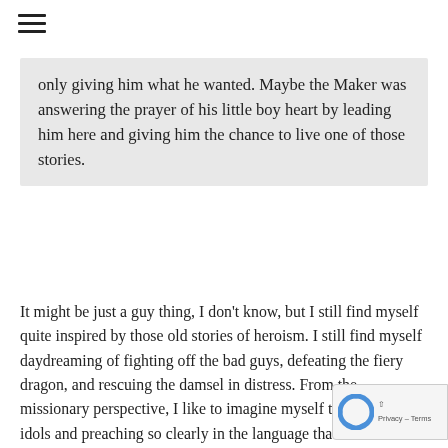only giving him what he wanted. Maybe the Maker was answering the prayer of his little boy heart by leading him here and giving him the chance to live one of those stories.
It might be just a guy thing, I don't know, but I still find myself quite inspired by those old stories of heroism. I still find myself daydreaming of fighting off the bad guys, defeating the fiery dragon, and rescuing the damsel in distress. From the missionary perspective, I like to imagine myself tearing down idols and preaching so clearly in the language that thousands are saved on the same day. What is interesting about these dreams is that they almost always consist of one dramatic, heroic moment. I never find myself daydreaming about training to use a sword, or studying nautical charts, or learning to speak another language. And in my dreams my victories are pu... triumphant, and received with gratefulness. I don't drea... being in a dark dungeon alone waiting for death. I don't d... of holding a dying child with no way to help them. I don't dream